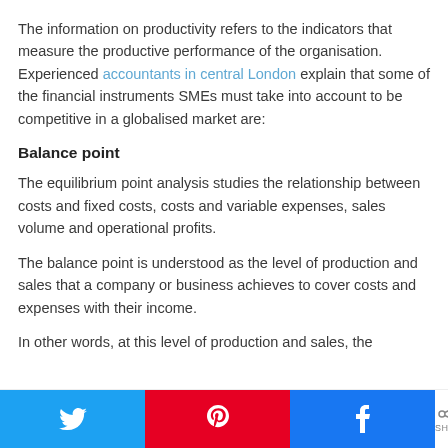The information on productivity refers to the indicators that measure the productive performance of the organisation. Experienced accountants in central London explain that some of the financial instruments SMEs must take into account to be competitive in a globalised market are:
Balance point
The equilibrium point analysis studies the relationship between costs and fixed costs, costs and variable expenses, sales volume and operational profits.
The balance point is understood as the level of production and sales that a company or business achieves to cover costs and expenses with their income.
In other words, at this level of production and sales, the
[Figure (infographic): Social sharing bar with Twitter (blue), Pinterest (red), Facebook (blue) buttons, and a share count showing 0 SHARES]